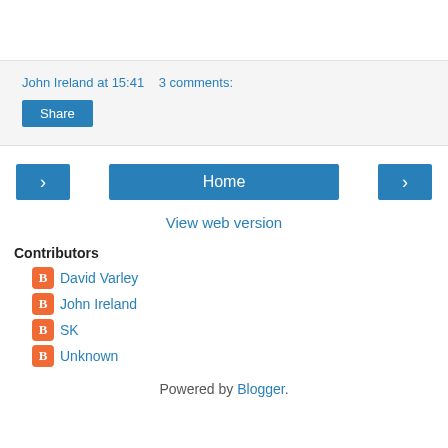John Ireland at 15:41   3 comments:
Share
< Home >
View web version
Contributors
David Varley
John Ireland
SK
Unknown
Powered by Blogger.